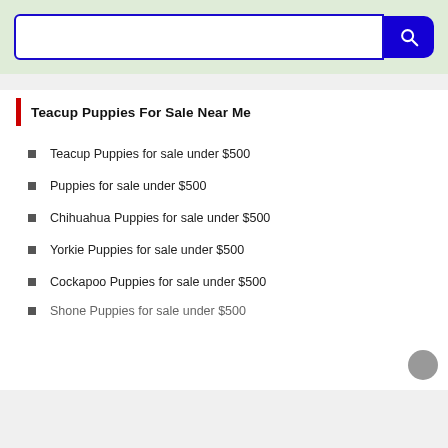[Figure (screenshot): Search bar with blue border input field and blue search button with magnifying glass icon, on a light green background]
Teacup Puppies For Sale Near Me
Teacup Puppies for sale under $500
Puppies for sale under $500
Chihuahua Puppies for sale under $500
Yorkie Puppies for sale under $500
Cockapoo Puppies for sale under $500
Shone Puppies for sale under $500 (partial)